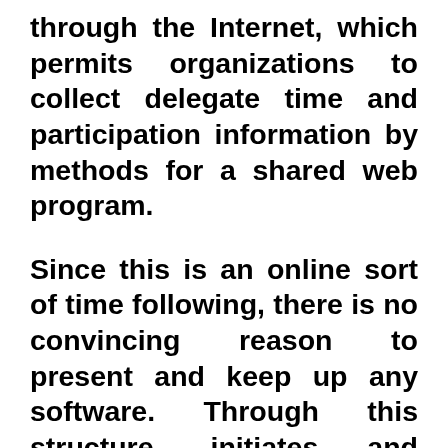through the Internet, which permits organizations to collect delegate time and participation information by methods for a shared web program.

Since this is an online sort of time following, there is no convincing reason to present and keep up any software. Through this structure, initiates and various agents would now have the option to enter their time and participation information without being in the work environment. Moreover, laborers consigned to far away destinations for the afternoon or for the week can